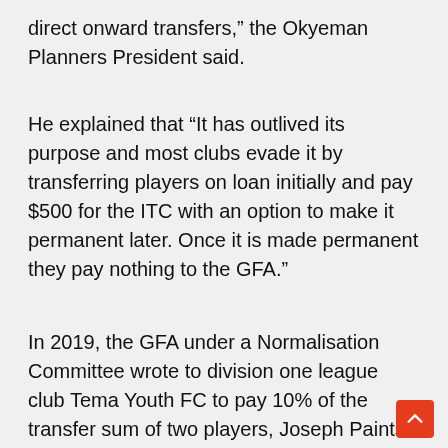direct onward transfers,” the Okyeman Planners President said.
He explained that “It has outlived its purpose and most clubs evade it by transferring players on loan initially and pay $500 for the ITC with an option to make it permanent later. Once it is made permanent they pay nothing to the GFA.”
In 2019, the GFA under a Normalisation Committee wrote to division one league club Tema Youth FC to pay 10% of the transfer sum of two players, Joseph Paintsil and Gabriel Larveh to the association as enshrined in its regulations.